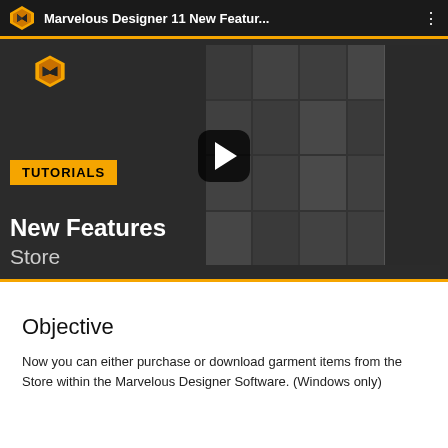[Figure (screenshot): YouTube-style video thumbnail for 'Marvelous Designer 11 New Featur...' showing a tutorials video about New Features: Store, with the Marvelous Designer logo, a TUTORIALS badge, text 'New Features Store', and a grid of garment thumbnails on the right side. A play button is overlaid in the center.]
Objective
Now you can either purchase or download garment items from the Store within the Marvelous Designer Software. (Windows only)